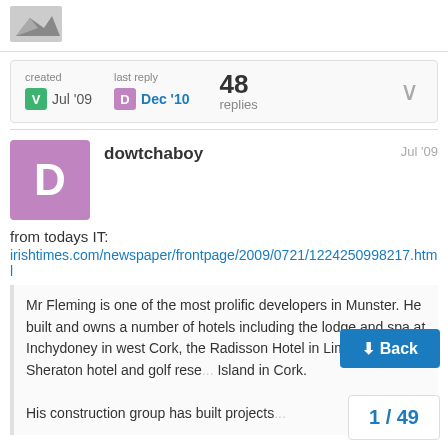[Figure (photo): Mountain/landscape icon image in page header area]
| created | last reply | 48 replies |
| V Jul '09 | D Dec '10 |  |
dowtchaboy   Jul '09
from todays IT:
irishtimes.com/newspaper/frontpage/2009/0721/1224250998217.html
Mr Fleming is one of the most prolific developers in Munster. He built and owns a number of hotels including the lodge and spa at Inchydoney in west Cork, the Radisson Hotel in Limerick and the Sheraton hotel and golf rese... Island in Cork.

His construction group has built projects...
Back
1 / 49